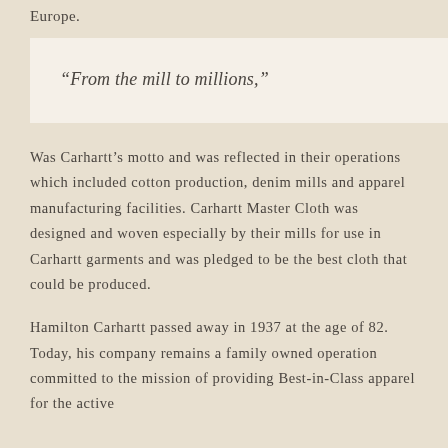Europe.
“From the mill to millions,”
Was Carhartt’s motto and was reflected in their operations which included cotton production, denim mills and apparel manufacturing facilities. Carhartt Master Cloth was designed and woven especially by their mills for use in Carhartt garments and was pledged to be the best cloth that could be produced.
Hamilton Carhartt passed away in 1937 at the age of 82. Today, his company remains a family owned operation committed to the mission of providing Best-in-Class apparel for the active